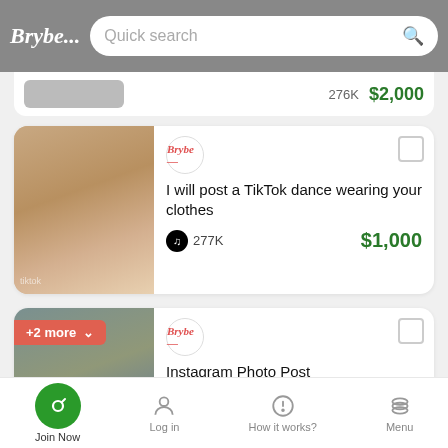Brybe... Quick search
[Figure (screenshot): Partial listing card showing 276K followers and $2,000 price]
[Figure (photo): TikTok listing card: I will post a TikTok dance wearing your clothes, 277K followers, $1,000]
[Figure (photo): Instagram listing card: Instagram Photo Post, 274K followers, $850, +2 more badge]
Join Now   Log in   How it works?   Menu